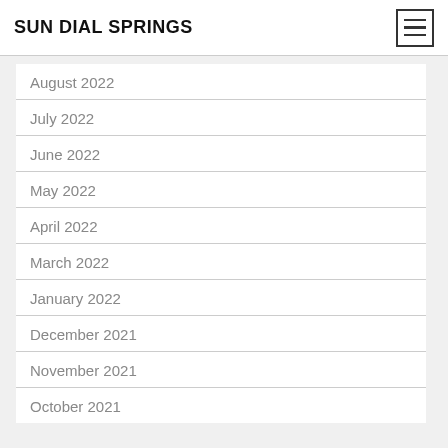SUN DIAL SPRINGS
August 2022
July 2022
June 2022
May 2022
April 2022
March 2022
January 2022
December 2021
November 2021
October 2021